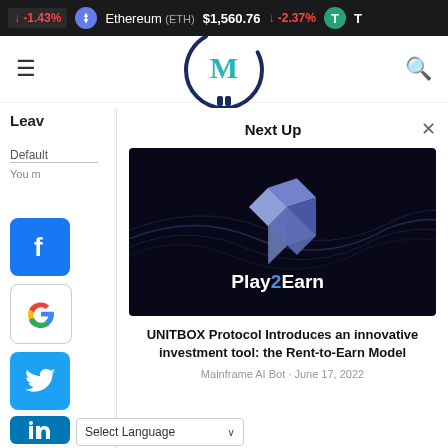↓ -1.43%  Ethereum (ETH)  $1,560.76  ↓ -2.37%  T
[Figure (screenshot): Website navigation bar with hamburger menu, Mainframe logo (M in circle), and search icon. Date: September 1, 2022]
September 1, 2022
Leav
Default
You m
[Figure (screenshot): Facebook share button (blue square with F logo)]
[Figure (screenshot): Google share button (white square with G logo)]
[Figure (screenshot): Twitter share button (blue square with bird logo)]
[Figure (screenshot): LinkedIn share button (blue square with in logo)]
Next Up
[Figure (illustration): UNITBOX Protocol Play2Earn promotional image: dark background with blue geometric cube logo and Play2Earn text in white and blue]
UNITBOX Protocol Introduces an innovative investment tool: the Rent-to-Earn Model
Mainframe AI Bot · June 17, 2022
Select Language